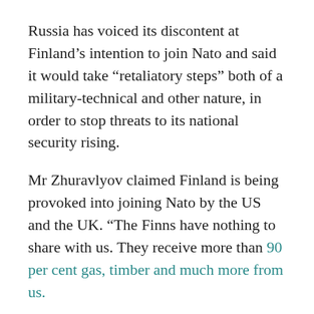Russia has voiced its discontent at Finland’s intention to join Nato and said it would take “retaliatory steps” both of a military-technical and other nature, in order to stop threats to its national security rising.
Mr Zhuravlyov claimed Finland is being provoked into joining Nato by the US and the UK. “The Finns have nothing to share with us. They receive more than 90 per cent gas, timber and much more from us.
“Who needs fighting first of all? The Finns? They are not afraid that Russia is attacking them. Of course, sooner or later the Americans will force them to do so.
“Just as they forced Ukraine to do it, they are trying to force Poland and Romania. And, as practice shows, they